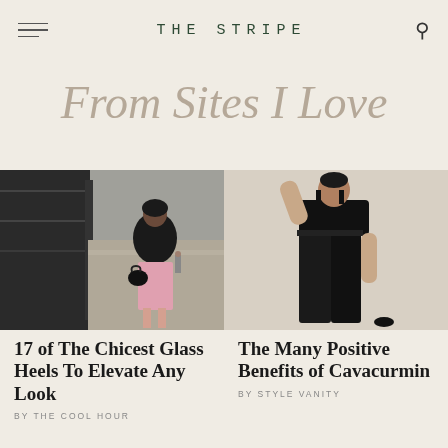THE STRIPE
From Sites I Love
[Figure (photo): Woman in black leather jacket and pink skirt carrying black bag on city street]
[Figure (photo): Woman in black crop top and black leather pants posing with arm raised]
17 of The Chicest Glass Heels To Elevate Any Look
BY THE COOL HOUR
The Many Positive Benefits of Cavacurmin
BY STYLE VANITY